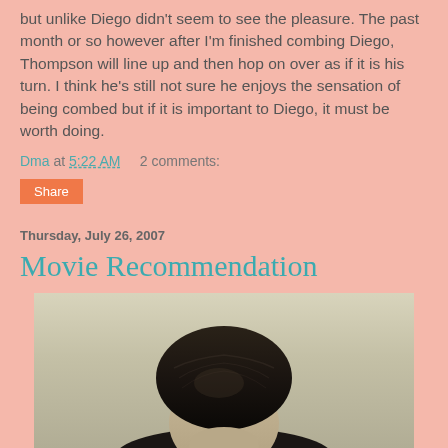but unlike Diego didn't seem to see the pleasure. The past month or so however after I'm finished combing Diego, Thompson will line up and then hop on over as if it is his turn. I think he's still not sure he enjoys the sensation of being combed but if it is important to Diego, it must be worth doing.
Dma at 5:22 AM    2 comments:
Share
Thursday, July 26, 2007
Movie Recommendation
[Figure (photo): Black and white vintage-style photograph showing the top of a person's head with dark hair, against a light beige/olive background.]